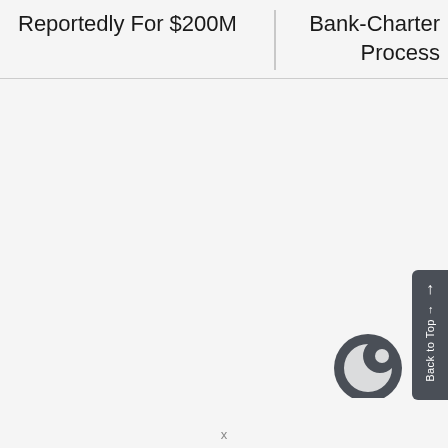Reportedly For $200M
Bank-Charter Process
[Figure (logo): Dark grey circular logo/icon, partially visible at bottom right]
Back to Top →